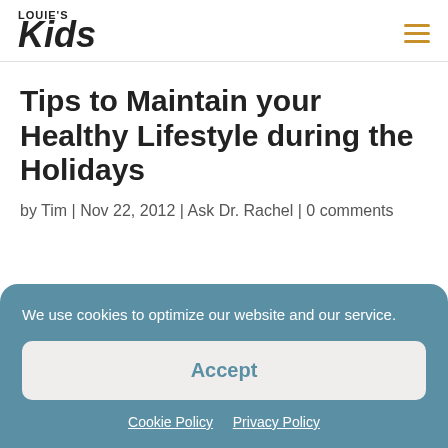LOUIE'S Kids
Tips to Maintain your Healthy Lifestyle during the Holidays
by Tim | Nov 22, 2012 | Ask Dr. Rachel | 0 comments
We use cookies to optimize our website and our service.
Accept
Cookie Policy  Privacy Policy